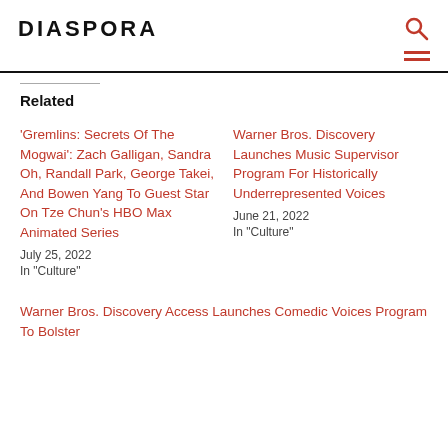DIASPORA
Related
'Gremlins: Secrets Of The Mogwai': Zach Galligan, Sandra Oh, Randall Park, George Takei, And Bowen Yang To Guest Star On Tze Chun's HBO Max Animated Series
July 25, 2022
In "Culture"
Warner Bros. Discovery Launches Music Supervisor Program For Historically Underrepresented Voices
June 21, 2022
In "Culture"
Warner Bros. Discovery Access Launches Comedic Voices Program To Bolster